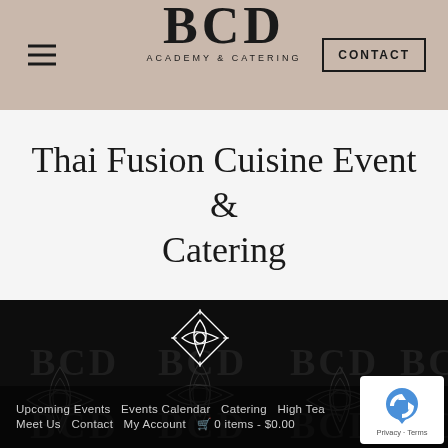BCD ACADEMY & CATERING
Thai Fusion Cuisine Event & Catering
[Figure (logo): BCD Academy & Catering dark decorative pattern background with repeated BCD text and floral ornamental motifs, center white diamond ornament]
Upcoming Events  Events Calendar  Catering  High Tea  Meet Us  Contact  My Account  0 items - $0.00